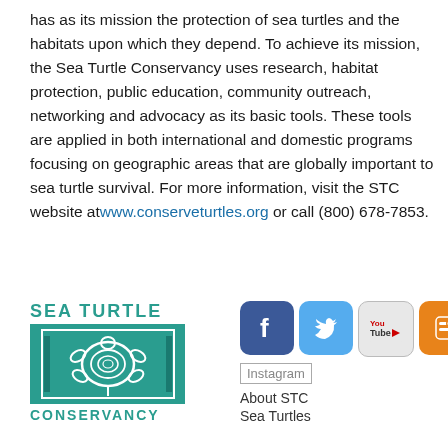has as its mission the protection of sea turtles and the habitats upon which they depend. To achieve its mission, the Sea Turtle Conservancy uses research, habitat protection, public education, community outreach, networking and advocacy as its basic tools. These tools are applied in both international and domestic programs focusing on geographic areas that are globally important to sea turtle survival. For more information, visit the STC website at www.conserveturtles.org or call (800) 678-7853.
[Figure (logo): Sea Turtle Conservancy logo — teal square with stylized turtle graphic, 'SEA TURTLE' text above and 'CONSERVANCY' text below]
[Figure (infographic): Social media icons: Facebook (blue), Twitter (light blue), YouTube (grey/red), Blogger (orange), and an Instagram placeholder image, followed by text links 'About STC' and 'Sea Turtles']